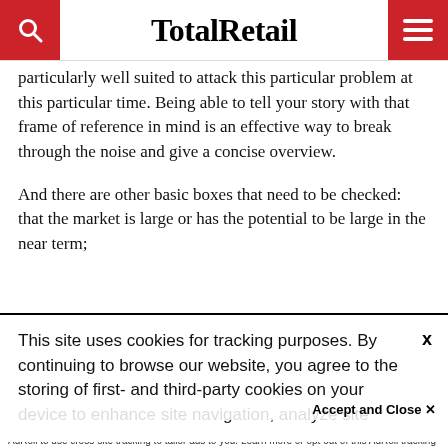TotalRetail
particularly well suited to attack this particular problem at this particular time. Being able to tell your story with that frame of reference in mind is an effective way to break through the noise and give a concise overview.
And there are other basic boxes that need to be checked: that the market is large or has the potential to be large in the near term;
This site uses cookies for tracking purposes. By continuing to browse our website, you agree to the storing of first- and third-party cookies on your device to enhance site navigation, analyze site usage, and assist in our marketing and
Accept and Close ✕
Your browser settings do not allow cross-site tracking for advertising. Click on this page to allow AdRoll to use cross-site tracking to tailor ads to you. Learn more or opt out of this AdRoll tracking by clicking here. This message only appears once.